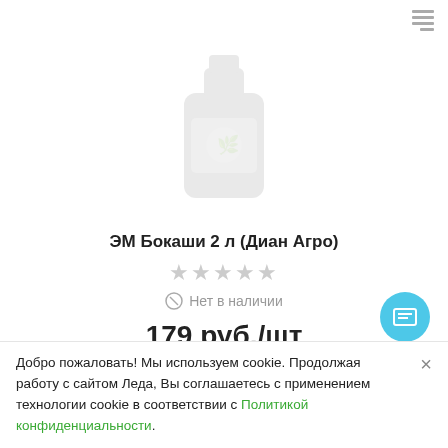[Figure (screenshot): Product image placeholder showing a faint outline of a bottle/container product]
ЭМ Бокаши 2 л (Диан Агро)
★★★★★ (empty stars rating)
Нет в наличии
179 руб./шт
Подписаться
Добро пожаловать! Мы используем cookie. Продолжая работу с сайтом Леда, Вы соглашаетесь с применением технологии cookie в соответствии с Политикой конфиденциальности.